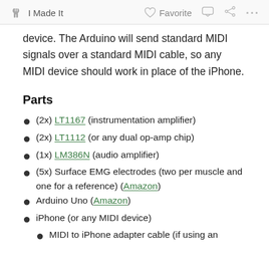I Made It   Favorite   ...
device. The Arduino will send standard MIDI signals over a standard MIDI cable, so any MIDI device should work in place of the iPhone.
Parts
(2x) LT1167 (instrumentation amplifier)
(2x) LT1112 (or any dual op-amp chip)
(1x) LM386N (audio amplifier)
(5x) Surface EMG electrodes (two per muscle and one for a reference) (Amazon)
Arduino Uno (Amazon)
iPhone (or any MIDI device)
MIDI to iPhone adapter cable (if using an